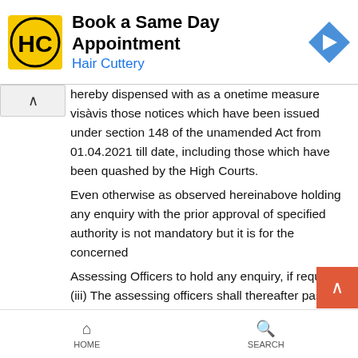[Figure (other): Advertisement banner: Hair Cuttery - Book a Same Day Appointment, with yellow HC logo and blue navigation arrow icon]
hereby dispensed with as a onetime measure visàvis those notices which have been issued under section 148 of the unamended Act from 01.04.2021 till date, including those which have been quashed by the High Courts. Even otherwise as observed hereinabove holding any enquiry with the prior approval of specified authority is not mandatory but it is for the concerned Assessing Officers to hold any enquiry, if required;(iii) The assessing officers shall thereafter pass orders in terms of section 148A(d) in respect of each of the concerned assessees. Thereafter following the procedure as required under section 148A may issue notice